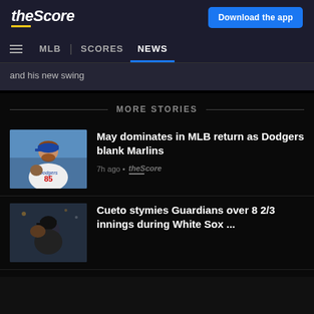theScore | Download the app
MLB | SCORES | NEWS
and his new swing
MORE STORIES
[Figure (photo): Baseball pitcher wearing Dodgers uniform number 85 with beard and long hair, in pitching stance]
May dominates in MLB return as Dodgers blank Marlins
7h ago · theScore
[Figure (photo): Baseball pitcher in dark uniform in close-up action shot]
Cueto stymies Guardians over 8 2/3 innings during White Sox ...